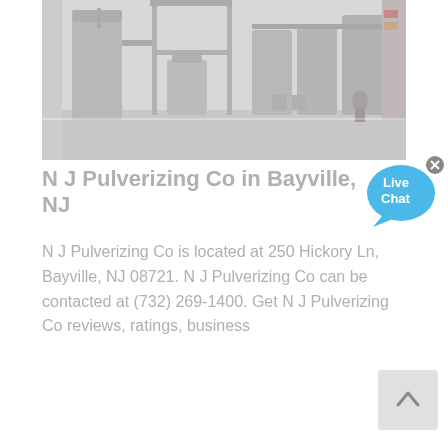[Figure (photo): Interior of an industrial facility with stainless steel tanks, pipes, and equipment on a white floor. The image is faded/light gray overlay.]
N J Pulverizing Co in Bayville, NJ
[Figure (illustration): Live Chat speech bubble icon in blue]
N J Pulverizing Co is located at 250 Hickory Ln, Bayville, NJ 08721. N J Pulverizing Co can be contacted at (732) 269-1400. Get N J Pulverizing Co reviews, ratings, business
[Figure (illustration): Scroll-to-top button with upward arrow, gray background]